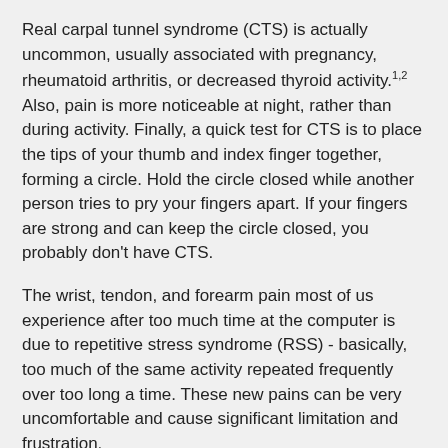Real carpal tunnel syndrome (CTS) is actually uncommon, usually associated with pregnancy, rheumatoid arthritis, or decreased thyroid activity.1,2 Also, pain is more noticeable at night, rather than during activity. Finally, a quick test for CTS is to place the tips of your thumb and index finger together, forming a circle. Hold the circle closed while another person tries to pry your fingers apart. If your fingers are strong and can keep the circle closed, you probably don't have CTS.
The wrist, tendon, and forearm pain most of us experience after too much time at the computer is due to repetitive stress syndrome (RSS) - basically, too much of the same activity repeated frequently over too long a time. These new pains can be very uncomfortable and cause significant limitation and frustration.
The primary solution is rest and avoidance of the irritating activities. In practice, rest can mean relative rest.3 One key approach for computer-related repetitive stress is to begin using the opposite hand to [Accessibility View] activities.